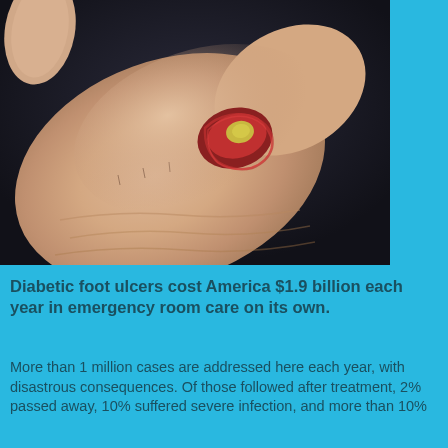[Figure (photo): Close-up photograph of a diabetic foot ulcer on a human foot, showing an open wound with reddish and yellowish tissue on the top of the foot/toe area. Background is dark gray/black.]
Diabetic foot ulcers cost America $1.9 billion each year in emergency room care on its own.
More than 1 million cases are addressed here each year, with disastrous consequences. Of those followed after treatment, 2% passed away, 10% suffered severe infection, and more than 10%